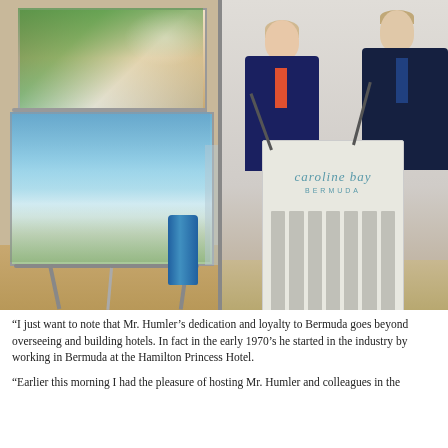[Figure (photo): Left: An easel displaying two artistic renderings of a coastal resort development (Caroline Bay, Bermuda). Right: Two men in dark suits standing at a Caroline Bay Bermuda branded podium with microphones, at a press event. Wooden floor visible in background.]
“I just want to note that Mr. Humler’s dedication and loyalty to Bermuda goes beyond overseeing and building hotels. In fact in the early 1970’s he started in the industry by working in Bermuda at the Hamilton Princess Hotel.
“Earlier this morning I had the pleasure of hosting Mr. Humler and colleagues in the